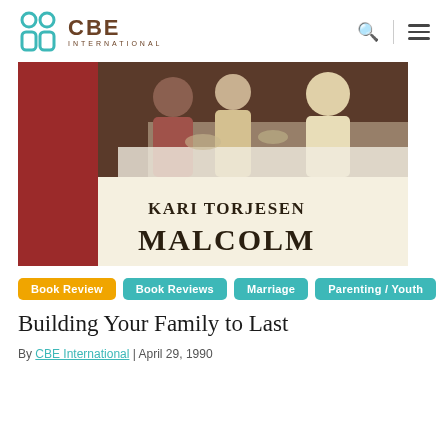CBE INTERNATIONAL
[Figure (photo): Book cover image showing people dining at a table in the upper portion, and a cream-colored lower half with the author name 'Kari Torjesen Malcolm' in serif text. Left side has a dark red/maroon panel.]
Book Review
Book Reviews
Marriage
Parenting / Youth
Building Your Family to Last
By CBE International | April 29, 1990